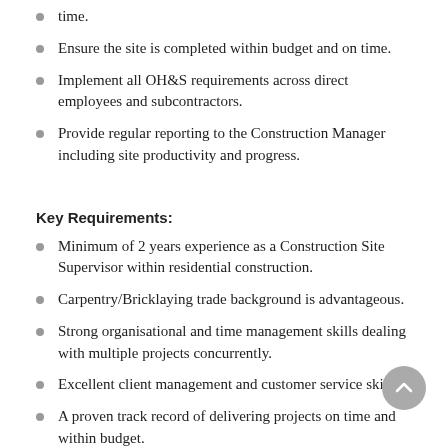time.
Ensure the site is completed within budget and on time.
Implement all OH&S requirements across direct employees and subcontractors.
Provide regular reporting to the Construction Manager including site productivity and progress.
Key Requirements:
Minimum of 2 years experience as a Construction Site Supervisor within residential construction.
Carpentry/Bricklaying trade background is advantageous.
Strong organisational and time management skills dealing with multiple projects concurrently.
Excellent client management and customer service skills.
A proven track record of delivering projects on time and within budget.